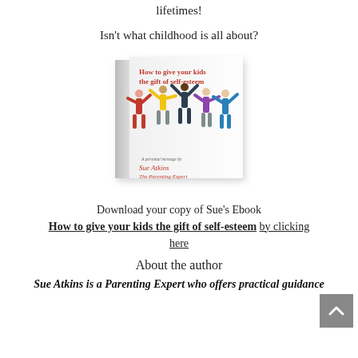lifetimes!
Isn't what childhood is all about?
[Figure (photo): Book cover image: 'How to give your kids the gift of self-esteem' by Sue Atkins, The Parenting Expert. Cover shows illustrated children with arms raised.]
Download your copy of Sue's Ebook How to give your kids the gift of self-esteem by clicking here
About the author
Sue Atkins is a Parenting Expert who offers practical guidance